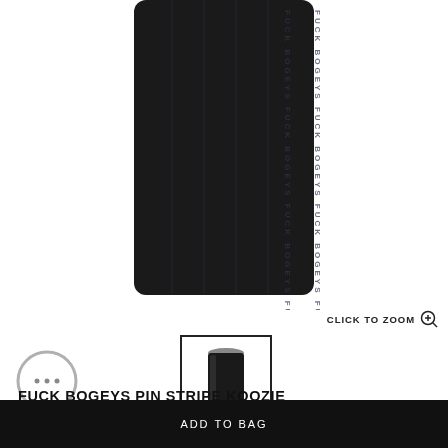[Figure (photo): Close-up of a black neoprene koozie with pinstripe text pattern reading 'FUCK BOGEYS' repeatedly in vertical columns]
CLICK TO ZOOM
[Figure (photo): Thumbnail image of the full black pin stripe koozie product with a can inside]
[Figure (other): Chat support bubble icon with three dots]
FUCK BOGEYS PIN STRIPE KOOZIE
ADD TO BAG